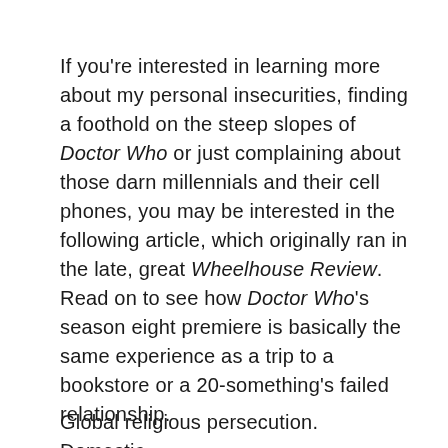If you're interested in learning more about my personal insecurities, finding a foothold on the steep slopes of Doctor Who or just complaining about those darn millennials and their cell phones, you may be interested in the following article, which originally ran in the late, great Wheelhouse Review. Read on to see how Doctor Who's season eight premiere is basically the same experience as a trip to a bookstore or a 20-something's failed relationship.
Global religious persecution. Domestic